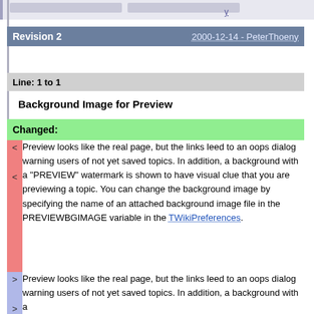Revision 2   2000-12-14 - PeterThoeny
Line: 1 to 1
Background Image for Preview
Changed:
< Preview looks like the real page, but the links leed
< to an oops dialog warning users of not yet saved topics. In addition, a background with a "PREVIEW" watermark is shown to have visual clue that you are previewing a topic. You can change the background image by specifying the name of an attached background image file in the PREVIEWBGIMAGE variable in the TWikiPreferences.
> Preview looks like the real page, but the links leed
> to an oops dialog warning users of not yet saved topics. In addition, a background with a